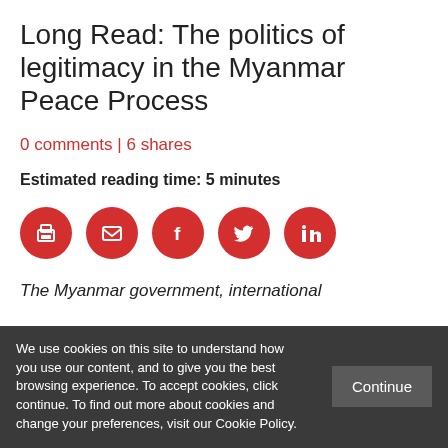Long Read: The politics of legitimacy in the Myanmar Peace Process
0 comments | 6 shares
Estimated reading time: 5 minutes
[Figure (other): Row of five red circular social sharing buttons: print, email, Facebook, Twitter, LinkedIn]
The Myanmar government, international
We use cookies on this site to understand how you use our content, and to give you the best browsing experience. To accept cookies, click continue. To find out more about cookies and change your preferences, visit our Cookie Policy.